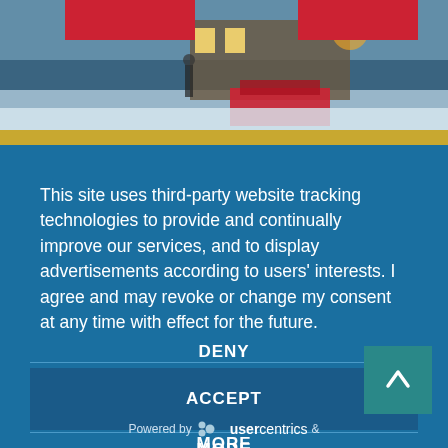[Figure (photo): Winter outdoor scene showing a snowy setting with warm lights, a person, a red vehicle or train equipment, and a building in the background. Two red overlay blocks at top corners. Gold stripe at bottom of photo area.]
This site uses third-party website tracking technologies to provide and continually improve our services, and to display advertisements according to users' interests. I agree and may revoke or change my consent at any time with effect for the future.
DENY
ACCEPT
MORE
Powered by usercentrics &